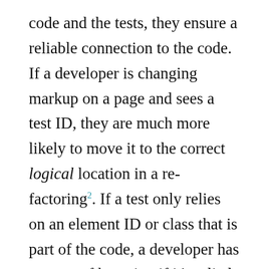code and the tests, they ensure a reliable connection to the code. If a developer is changing markup on a page and sees a test ID, they are much more likely to move it to the correct logical location in a re-factoring². If a test only relies on an element ID or class that is part of the code, a developer has no way of knowing if it's relied on by a test without looking through all the tests.
The Page Component pattern